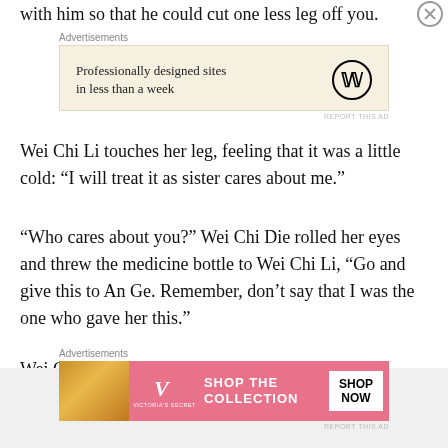with him so that he could cut one less leg off you.
[Figure (screenshot): Advertisement banner: Professionally designed sites in less than a week, with WordPress logo]
Wei Chi Li touches her leg, feeling that it was a little cold: “I will treat it as sister cares about me.”
“Who cares about you?” Wei Chi Die rolled her eyes and threw the medicine bottle to Wei Chi Li, “Go and give this to An Ge. Remember, don’t say that I was the one who gave her this.”
Wei Chi Li held it in front of her eyes. It was a JinChuang Medicine, and was even the best kind.
[Figure (screenshot): Advertisement banner: Victoria's Secret - Shop the Collection, Shop Now button]